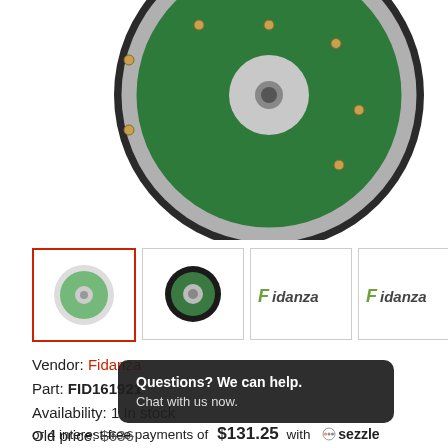[Figure (photo): Fidanza aluminum flywheel with green friction surface and silver ring gear, shown from top/front angle, partial view]
[Figure (photo): Four product thumbnails: small flywheel front view (selected, red border), small flywheel back view, Fidanza logo, Fidanza logo]
Vendor: Fidanza
Part: FID161921
Availability: 1 In stock
Old price: $636
Questions? We can help. Chat with us now.
or 4 interest-free payments of $131.25 with ◎ sezzle